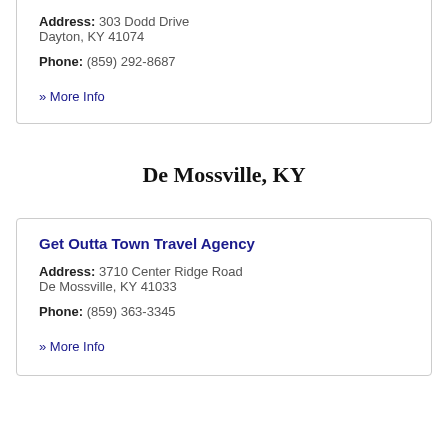Address: 303 Dodd Drive Dayton, KY 41074
Phone: (859) 292-8687
» More Info
De Mossville, KY
Get Outta Town Travel Agency
Address: 3710 Center Ridge Road De Mossville, KY 41033
Phone: (859) 363-3345
» More Info